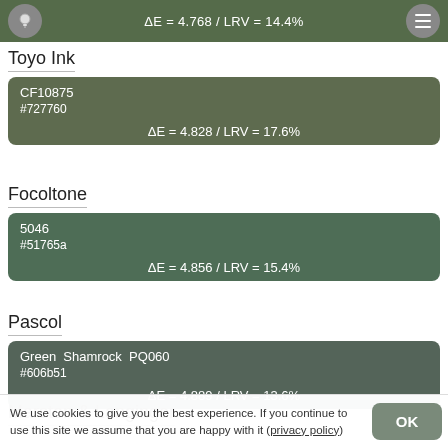ΔE = 4.768 / LRV = 14.4%
Toyo Ink
CF10875
#727760
ΔE = 4.828 / LRV = 17.6%
Focoltone
5046
#51765a
ΔE = 4.856 / LRV = 15.4%
Pascol
Green Shamrock PQ060
#606b51
ΔE = 4.889 / LRV = 13.6%
Marston & Langinger
We use cookies to give you the best experience. If you continue to use this site we assume that you are happy with it (privacy policy)